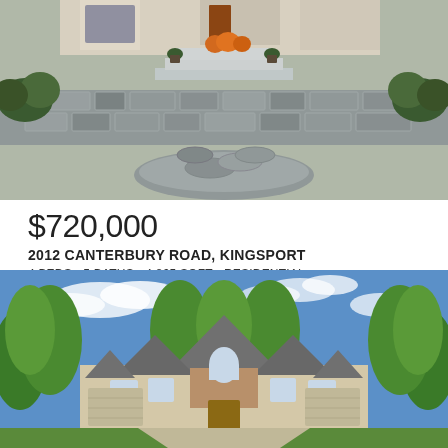[Figure (photo): Exterior photo of a home with stone retaining wall, stone steps leading up to a porch with potted plants and pumpkins, surrounded by landscaping and trees.]
$720,000
2012 CANTERBURY ROAD, KINGSPORT
4 BEDS • 5 BATHS • 4,865 SQFT • RESIDENTIAL
• MLS® # 9942255
[Figure (photo): Exterior photo of a large traditional-style home with tan/brick facade, multiple gabled rooflines, surrounded by lush green trees under a blue sky with clouds.]